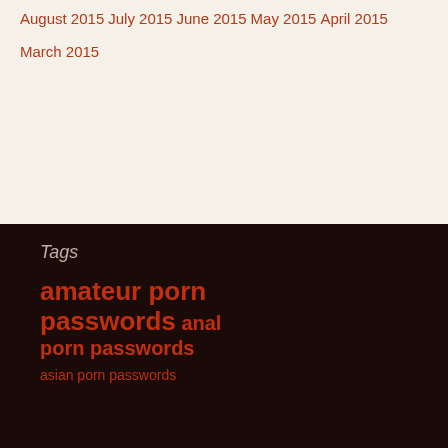August 2015
July 2015
June 2015
May 2015
April 2015
March 2015
Tags
amateur porn passwords anal porn passwords
asian porn passwords